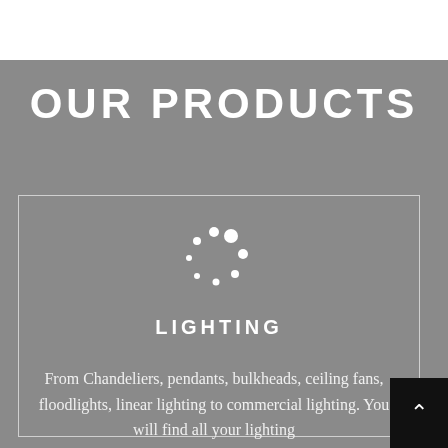OUR PRODUCTS
[Figure (illustration): A circular loading/dots spinner icon in white, representing a lighting product category icon]
LIGHTING
From Chandeliers, pendants, bulkheads, ceiling fans, floodlights, linear lighting to commercial lighting. You will find all your lighting